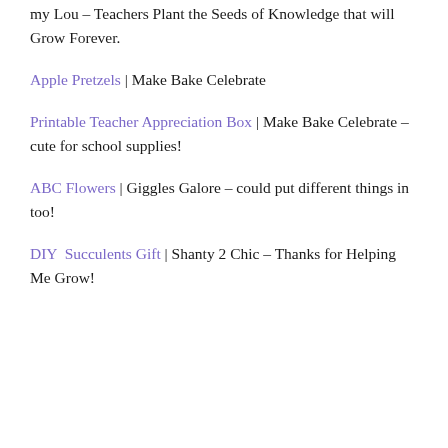my Lou – Teachers Plant the Seeds of Knowledge that will Grow Forever.
Apple Pretzels | Make Bake Celebrate
Printable Teacher Appreciation Box | Make Bake Celebrate – cute for school supplies!
ABC Flowers | Giggles Galore – could put different things in too!
DIY Succulents Gift | Shanty 2 Chic – Thanks for Helping Me Grow!